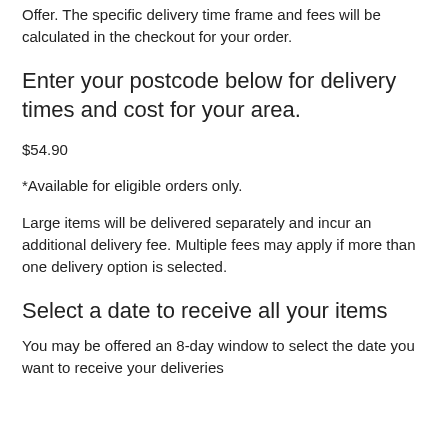Offer. The specific delivery time frame and fees will be calculated in the checkout for your order.
Enter your postcode below for delivery times and cost for your area.
$54.90
*Available for eligible orders only.
Large items will be delivered separately and incur an additional delivery fee. Multiple fees may apply if more than one delivery option is selected.
Select a date to receive all your items
You may be offered an 8-day window to select the date you want to receive your deliveries